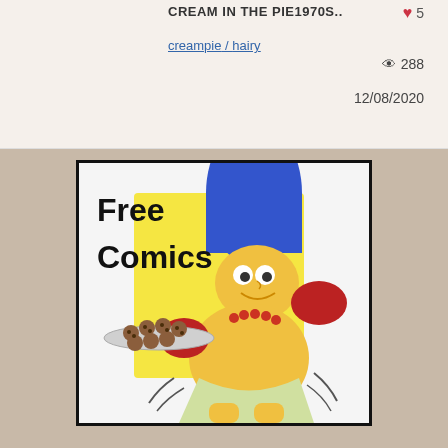CREAM IN THE PIE1970S..
♥ 5
creampie / hairy
👁 288
12/08/2020
[Figure (illustration): Illustration of a cartoon character (Marge Simpson-style) with tall blue hair, wearing boxing gloves (red), a red necklace, holding a tray of cookies. Text overlaid says 'Free Comics' in bold black. Background is yellow and white.]